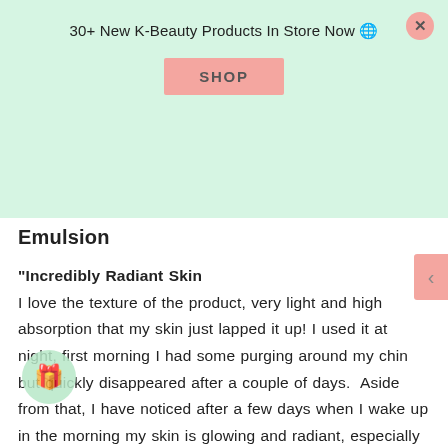30+ New K-Beauty Products In Store Now 🌐
[Figure (other): SHOP button banner overlay with light green background and pink SHOP button, close X button top right]
Emulsion
"Incredibly Radiant Skin
I love the texture of the product, very light and high absorption that my skin just lapped it up! I used it at night, first morning I had some purging around my chin but quickly disappeared after a couple of days.  Aside from that, I have noticed after a few days when I wake up in the morning my skin is glowing and radiant, especially around my forehead so smooth!  I've had a few people comment how my skin glows and have asked if I was wearing foundation (which I was not, just used spf moisturiser).   I'm 45 years old and to be complimented like that is really nice to hear but